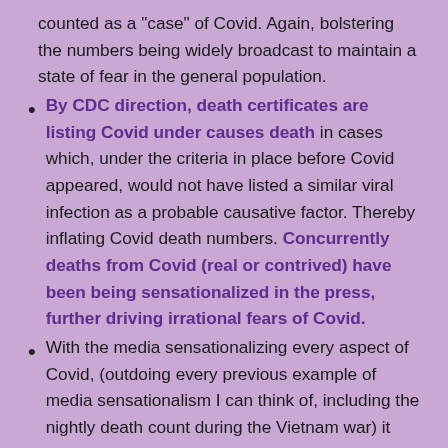counted as a "case" of Covid. Again, bolstering the numbers being widely broadcast to maintain a state of fear in the general population.
By CDC direction, death certificates are listing Covid under causes death in cases which, under the criteria in place before Covid appeared, would not have listed a similar viral infection as a probable causative factor. Thereby inflating Covid death numbers. Concurrently deaths from Covid (real or contrived) have been being sensationalized in the press, further driving irrational fears of Covid.
With the media sensationalizing every aspect of Covid, (outdoing every previous example of media sensationalism I can think of, including the nightly death count during the Vietnam war) it prepared the public consciousness for the introduction of authoritarian mandates which impose draconian